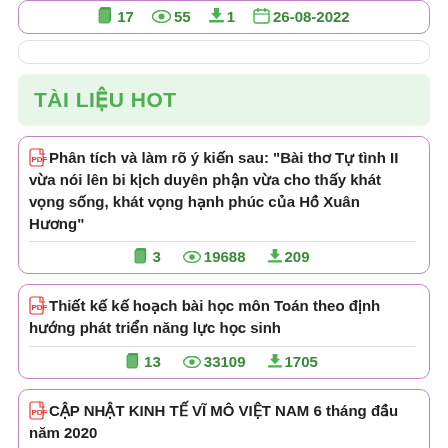17  55  1  26-08-2022
TÀI LIỆU HOT
Phân tích và làm rõ ý kiến sau: "Bài thơ Tự tình II vừa nói lên bi kịch duyên phận vừa cho thấy khát vọng sống, khát vọng hạnh phúc của Hồ Xuân Hương"  3  19688  209
Thiết kế kế hoạch bài học môn Toán theo định hướng phát triển năng lực học sinh  13  33109  1705
CẬP NHẬT KINH TẾ VĨ MÔ VIỆT NAM 6 tháng đầu năm 2020